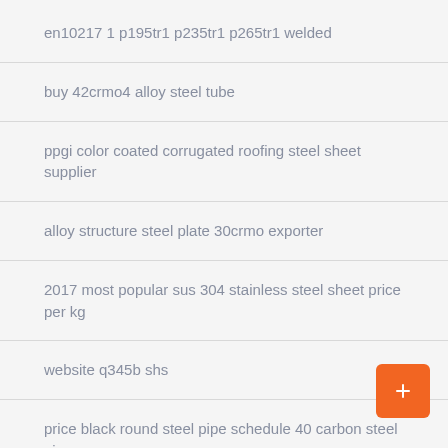en10217 1 p195tr1 p235tr1 p265tr1 welded
buy 42crmo4 alloy steel tube
ppgi color coated corrugated roofing steel sheet supplier
alloy structure steel plate 30crmo exporter
2017 most popular sus 304 stainless steel sheet price per kg
website q345b shs
price black round steel pipe schedule 40 carbon steel pipe